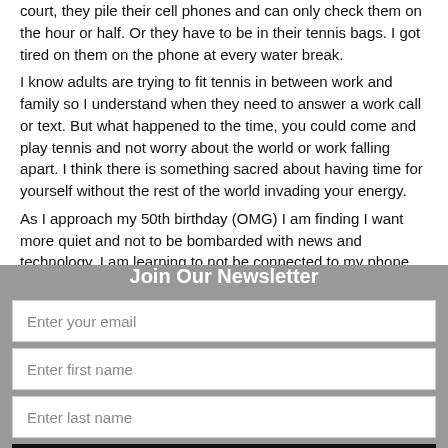court, they pile their cell phones and can only check them on the hour or half. Or they have to be in their tennis bags. I got tired on them on the phone at every water break.
I know adults are trying to fit tennis in between work and family so I understand when they need to answer a work call or text. But what happened to the time, you could come and play tennis and not worry about the world or work falling apart. I think there is something sacred about having time for yourself without the rest of the world invading your energy.
As I approach my 50th birthday (OMG) I am finding I want more quiet and not to be bombarded with news and technology. I am learning to not be connected to my phone 24/7. Well at least trying.
Have the weekenders here to the piece because I am not
Join Our Newsletter
Enter your email
Enter first name
Enter last name
Subscribe